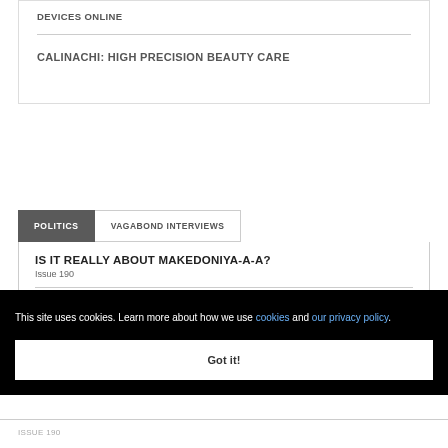DEVICES ONLINE
CALINACHI: HIGH PRECISION BEAUTY CARE
POLITICS
VAGABOND INTERVIEWS
IS IT REALLY ABOUT MAKEDONIYA-A-A?
Issue 190
ISM?
This site uses cookies. Learn more about how we use cookies and our privacy policy.
Got it!
Issue 190